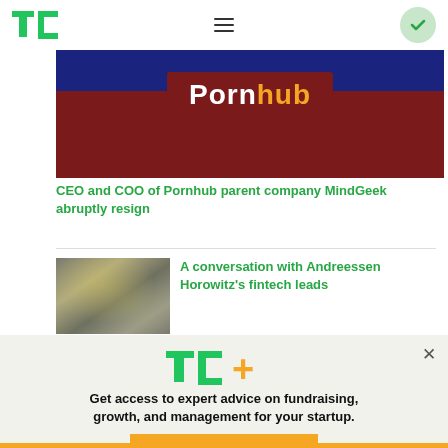TechCrunch
[Figure (photo): Partial view of Pornhub branded banner with dark blue top and dark red bottom, white text reading 'Pornhub' with orange accent]
CEO and COO of Pornhub parent company MindGeek abruptly resign
[Figure (photo): Thumbnail image showing a pile of money/cash bills from above]
A conversation with Andreessen Horowitz's fintech leads
[Figure (infographic): TechCrunch+ popup overlay with logo, promotional text, and Explore Now button]
Get access to expert advice on fundraising, growth, and management for your startup.